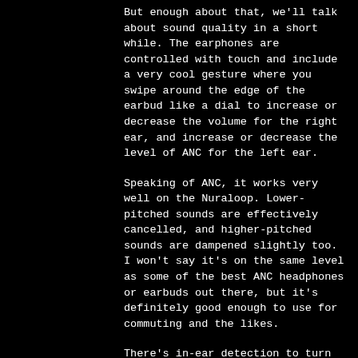But enough about that, we'll talk about sound quality in a short while. The earphones are controlled with touch and include a very cool gesture where you swipe around the edge of the earbud like a dial to increase or decrease the volume for the right ear, and increase or decrease the level of ANC for the left ear.
Speaking of ANC, it works very well on the Nuraloop. Lower-pitched sounds are effectively cancelled, and higher-pitched sounds are dampened slightly too. I won't say it's on the same level as some of the best ANC headphones or earbuds out there, but it's definitely good enough to use for commuting and the likes.
There's in-ear detection to turn on and off the earphones, but weirdly, there's no option to use it for playing and pausing music. It's not a dealbreaker, but it's definitely a weird